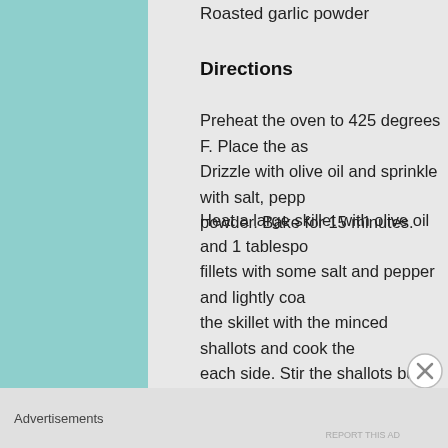Roasted garlic powder
Directions
Preheat the oven to 425 degrees F. Place the as... Drizzle with olive oil and sprinkle with salt, pepp... powder. Bake for 15 minutes.
Heat a large skillet with olive oil and 1 tablespo... fillets with some salt and pepper and lightly coa... the skillet with the minced shallots and cook the... each side. Stir the shallots but keep them to the... fish cooks. When the fish is cooked, place the fill... deglaze the pan with the wine, add the thyme an... it's reduced by two thirds. Add remaining butter... followed by the heavy cream and heat through.
Advertisements